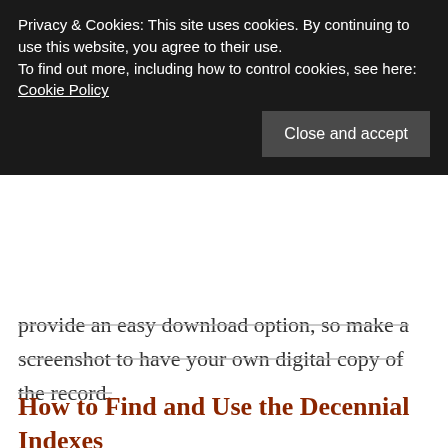Privacy & Cookies: This site uses cookies. By continuing to use this website, you agree to their use.
To find out more, including how to control cookies, see here: Cookie Policy
Close and accept
provide an easy download option, so make a screenshot to have your own digital copy of the record.
How to Find and Use the Decennial Indexes
No matter where you browse the digital images, it is a good idea to consult the indexes first. From the year 1807 the civil registrar was required to end each year with a yearly index. Furthermore, the towns were required to create a 10-year